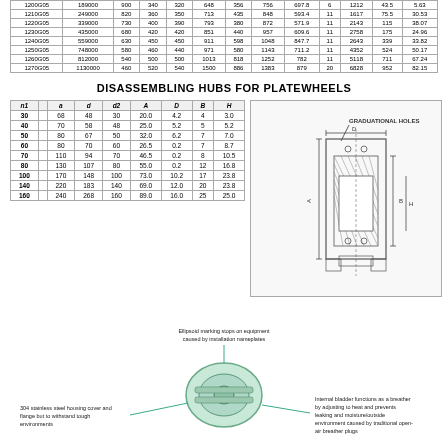|  |  |  |  |  |  |  |  |  |  |  |  |
| --- | --- | --- | --- | --- | --- | --- | --- | --- | --- | --- | --- |
| 1200G05 | 189000 | 900 | 340 | 320 | 648 | 356 | 756 | 697.8 | 6 | 1212 | 43.5 | 5.63 |
| 1210G05 | 249000 | 820 | 360 | 350 | 713 | 435 | 848 | 593.4 | 11 | 1617 | 75.5 | 30.53 |
| 1220G05 | 339000 | 730 | 400 | 390 | 793 | 380 | 872 | 571.9 | 11 | 2143 | 115 | 38.07 |
| 1230G05 | 435000 | 680 | 420 | 420 | 851 | 440 | 957 | 609.6 | 11 | 2758 | 175 | 24.96 |
| 1240G05 | 559000 | 630 | 450 | 450 | 911 | 598 | 1048 | 847.7 | 11 | 2643 | 339 | 33.82 |
| 1250G05 | 748000 | 580 | 460 | 440 | 971 | 580 | 1143 | 711.2 | 11 | 4352 | 524 | 50.17 |
| 1260G05 | 812000 | 540 | 500 | 500 | 1013 | 818 | 1252 | 782 | 11 | 5118 | 711 | 67.24 |
| 1270G05 | 1130000 | 460 | 520 | 540 | 1500 | 886 | 1383 | 879 | 20 | 6828 | 952 | 82.15 |
DISASSEMBLING HUBS FOR PLATEWHEELS
| n1 |  | a | d | d2 | A | D | B | H |
| --- | --- | --- | --- | --- | --- | --- | --- | --- |
| 30 |  | 68 | 48 | 30 | 20.0 | 4.2 | 4 | 3.0 |
| 40 |  | 70 | 58 | 48 | 25.0 | 5.2 | 5 | 5.2 |
| 50 |  | 80 | 67 | 50 | 32.0 | 6.2 | 7 | 7.0 |
| 60 |  | 80 | 70 | 60 | 26.5 | 0.2 | 7 | 8.7 |
| 70 |  | 110 | 94 | 70 | 46.5 | 0.2 | 8 | 10.5 |
| 80 |  | 130 | 107 | 80 | 55.0 | 0.2 | 12 | 16.8 |
| 100 |  | 170 | 148 | 100 | 73.0 | 10.2 | 17 | 23.8 |
| 140 |  | 220 | 183 | 140 | 69.0 | 12.0 | 20 | 23.8 |
| 160 |  | 240 | 268 | 160 | 89.0 | 16.0 | 25 | 25.0 |
[Figure (engineering-diagram): Technical cross-section drawing of a hub for platewheels showing dimensional annotations. Labels include 'GRADUATIONAL HOLES' with dimension lines for A, B, H and other parameters.]
[Figure (infographic): Product infographic showing a gearbox/reducer with callout annotations: '304 stainless steel housing cover and flange but to withstand tough environments', 'Ellipsoid marking stops on equipment caused by installation nameplates', 'Internal bladder functions as a breather by adjusting to heat and prevents leaking and moisture/outside environment caused by traditional open-air breather plugs']